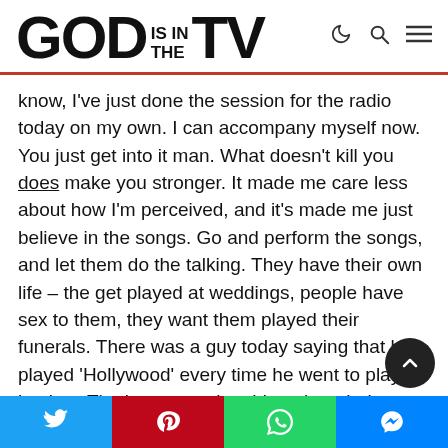GOD IS IN THE TV
know, I've just done the session for the radio today on my own. I can accompany myself now. You just get into it man. What doesn't kill you does make you stronger. It made me care less about how I'm perceived, and it's made me just believe in the songs. Go and perform the songs, and let them do the talking. They have their own life – the get played at weddings, people have sex to them, they want them played their funerals. There was a guy today saying that he played 'Hollywood' every time he went to play ice hockey. That's an amazing thing about being a songwriter, that songs do have their own life. It was like
Social share bar: Twitter, Pinterest, WhatsApp, Messenger